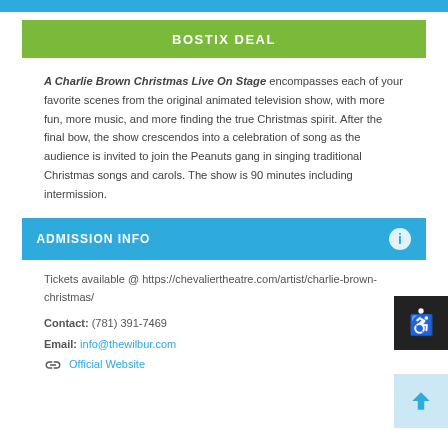BOSTIX DEAL
A Charlie Brown Christmas Live On Stage encompasses each of your favorite scenes from the original animated television show, with more fun, more music, and more finding the true Christmas spirit. After the final bow, the show crescendos into a celebration of song as the audience is invited to join the Peanuts gang in singing traditional Christmas songs and carols. The show is 90 minutes including intermission.
ADMISSION INFO
Tickets available @ https://chevaliertheatre.com/artist/charlie-brown-christmas/
Contact: (781) 391-7469
Email: info@thewilbur.com
Official Website